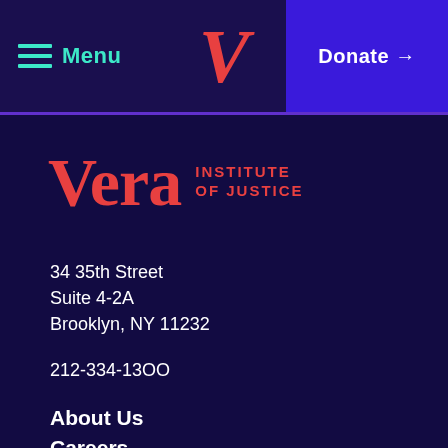Menu | V | Donate →
[Figure (logo): Vera Institute of Justice logo with large red 'Vera' text and 'INSTITUTE OF JUSTICE' in smaller red text to the right]
34 35th Street
Suite 4-2A
Brooklyn, NY 11232
212-334-13OO
About Us
Careers
Events
Media